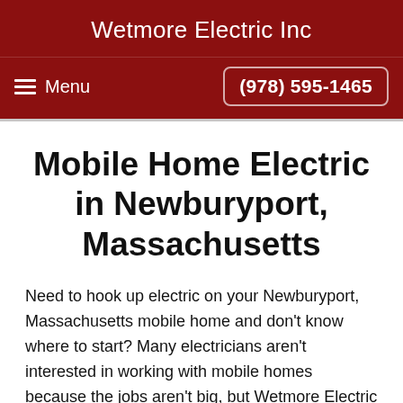Wetmore Electric Inc
Menu  (978) 595-1465
Mobile Home Electric in Newburyport, Massachusetts
Need to hook up electric on your Newburyport, Massachusetts mobile home and don't know where to start? Many electricians aren't interested in working with mobile homes because the jobs aren't big, but Wetmore Electric Inc is happy to help. Although hooking up electric to mobile homes in Newburyport isn't rocket science, it can be tricky, and it's something best left to the professional electricians, especially if you are living in a mobile park. In addition, having electrical lines installed requires an